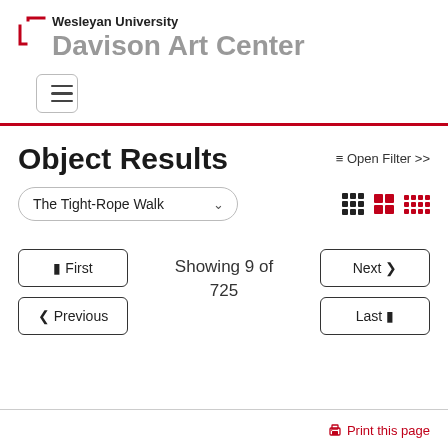Wesleyan University Davison Art Center
Object Results
≡ Open Filter >>
The Tight-Rope Walk
Showing 9 of 725
⏮ First
❮ Previous
Next ❯
Last ⏭
🖨 Print this page